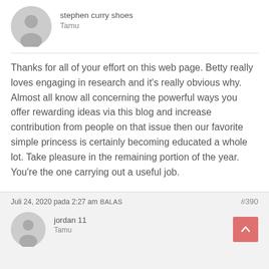stephen curry shoes
Tamu
Thanks for all of your effort on this web page. Betty really loves engaging in research and it's really obvious why. Almost all know all concerning the powerful ways you offer rewarding ideas via this blog and increase contribution from people on that issue then our favorite simple princess is certainly becoming educated a whole lot. Take pleasure in the remaining portion of the year. You're the one carrying out a useful job.
Juli 24, 2020 pada 2:27 am  BALAS  #390
jordan 11
Tamu